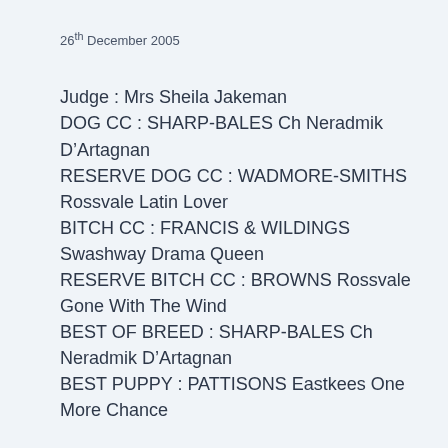26th December 2005
Judge : Mrs Sheila Jakeman
DOG CC : SHARP-BALES Ch Neradmik D’Artagnan
RESERVE DOG CC : WADMORE-SMITHS Rossvale Latin Lover
BITCH CC : FRANCIS & WILDINGS Swashway Drama Queen
RESERVE BITCH CC : BROWNS Rossvale Gone With The Wind
BEST OF BREED : SHARP-BALES Ch Neradmik D’Artagnan
BEST PUPPY : PATTISONS Eastkees One More Chance
READ MORE →